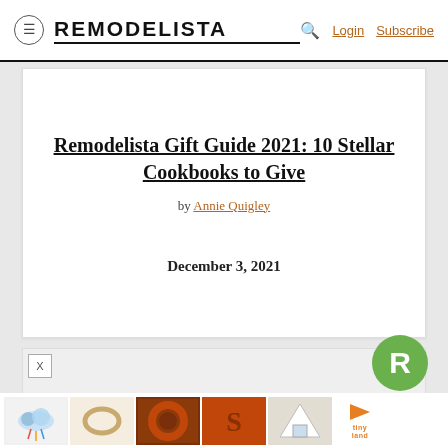REMODELISTA  Login  Subscribe
Remodelista Gift Guide 2021: 10 Stellar Cookbooks to Give
by Annie Quigley
December 3, 2021
[Figure (screenshot): Advertisement/content placeholder area with grey background]
[Figure (infographic): Thumbnail strip showing 5 image thumbnails and a video play button for a Tiny Land brand ad]